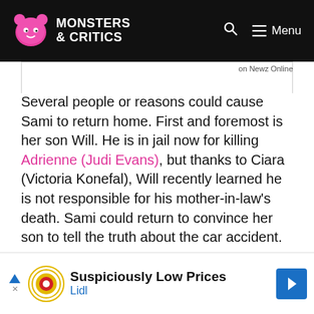Monsters & Critics
on Newz Online
Several people or reasons could cause Sami to return home. First and foremost is her son Will. He is in jail now for killing Adrienne (Judi Evans), but thanks to Ciara (Victoria Konefal), Will recently learned he is not responsible for his mother-in-law's death. Sami could return to convince her son to tell the truth about the car accident.
Another possible reason for Sami to pop up back in Salem could have everything to do with S...